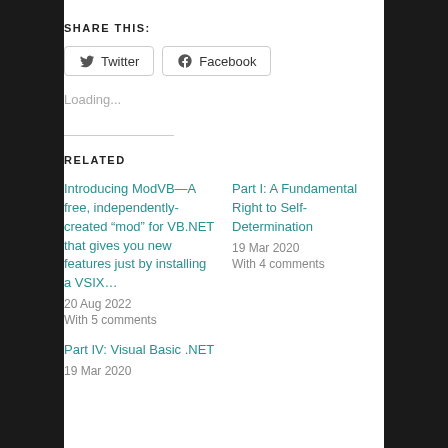SHARE THIS:
Twitter Facebook
Loading...
RELATED
Introducing ModVB—A free, independently-created “mod” for VB.NET that gives you new features just by installing a VSIX…
20 Aug 2022
With 5 comments
Part I: A Fundamental Right to Self-Determination
19 Mar 2020
With 4 comments
Part IV: Visual Basic .NET
19 Mar 2020